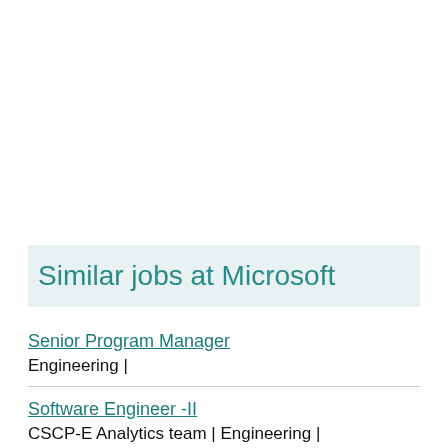Similar jobs at Microsoft
Senior Program Manager
Engineering |
Software Engineer -II
CSCP-E Analytics team | Engineering |